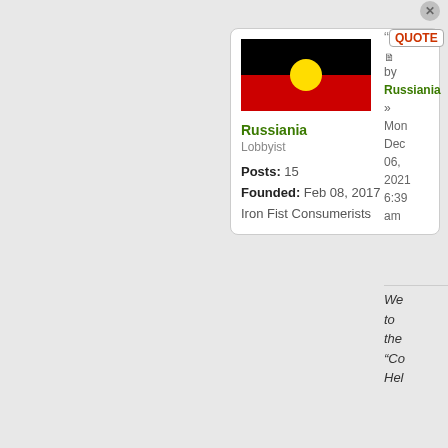[Figure (illustration): Australian Aboriginal Flag: black top half, red bottom half, yellow circle in center]
Russiania
Lobbyist

Posts: 15
Founded: Feb 08, 2017
Iron Fist Consumerists
QUOTE
by Russiania
» Mon Dec 06, 2021 6:39 am
We to the "Co Hel